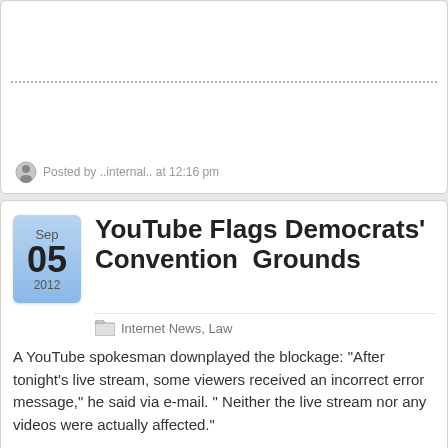Posted by ..internal.. at 12:16 pm
YouTube Flags Democrats' Convention Video on Copyright Grounds
Internet News, Law
A YouTube spokesman downplayed the blockage: "After tonight's live stream, some viewers received an incorrect error message," he said via e-mail. " Neither the live stream nor any videos were actually affected."
It's not clear what he meant by none of the channel's videos were affected.